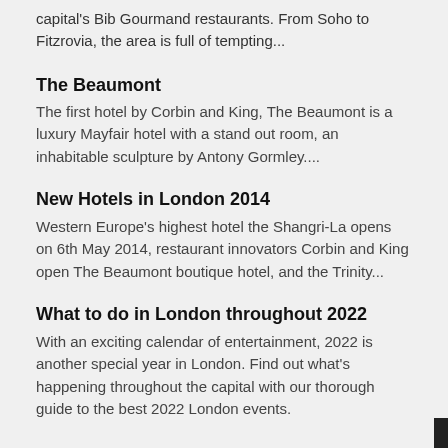capital's Bib Gourmand restaurants. From Soho to Fitzrovia, the area is full of tempting...
The Beaumont
The first hotel by Corbin and King, The Beaumont is a luxury Mayfair hotel with a stand out room, an inhabitable sculpture by Antony Gormley....
New Hotels in London 2014
Western Europe's highest hotel the Shangri-La opens on 6th May 2014, restaurant innovators Corbin and King open The Beaumont boutique hotel, and the Trinity...
What to do in London throughout 2022
With an exciting calendar of entertainment, 2022 is another special year in London. Find out what's happening throughout the capital with our thorough guide to the best 2022 London events.